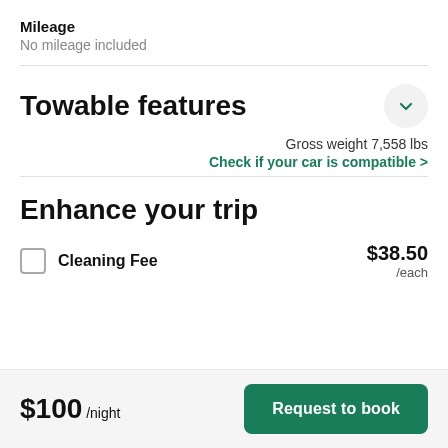Mileage
No mileage included
Towable features
Gross weight 7,558 lbs
Check if your car is compatible >
Enhance your trip
Cleaning Fee    $38.50 /each
$100 /night    Request to book